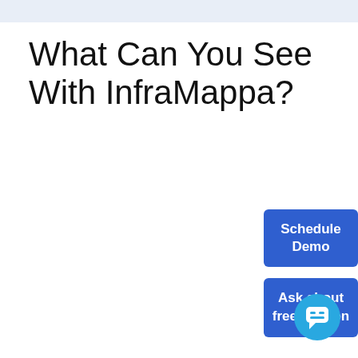What Can You See With InfraMappa?
Schedule Demo
Ask about free version
[Figure (illustration): Circular chat bubble button icon in light blue]